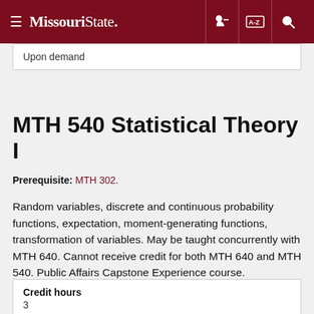Missouri State
Upon demand
MTH 540 Statistical Theory I
Prerequisite: MTH 302.
Random variables, discrete and continuous probability functions, expectation, moment-generating functions, transformation of variables. May be taught concurrently with MTH 640. Cannot receive credit for both MTH 640 and MTH 540. Public Affairs Capstone Experience course.
| Credit hours |
| --- |
| 3 |